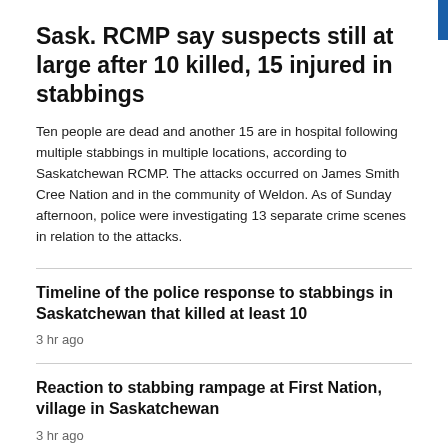Sask. RCMP say suspects still at large after 10 killed, 15 injured in stabbings
Ten people are dead and another 15 are in hospital following multiple stabbings in multiple locations, according to Saskatchewan RCMP. The attacks occurred on James Smith Cree Nation and in the community of Weldon. As of Sunday afternoon, police were investigating 13 separate crime scenes in relation to the attacks.
Timeline of the police response to stabbings in Saskatchewan that killed at least 10
3 hr ago
Reaction to stabbing rampage at First Nation, village in Saskatchewan
3 hr ago